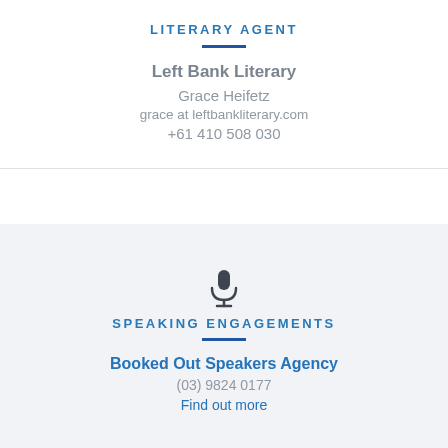LITERARY AGENT
Left Bank Literary
Grace Heifetz
grace at leftbankliterary.com
+61 410 508 030
[Figure (illustration): Microphone icon]
SPEAKING ENGAGEMENTS
Booked Out Speakers Agency
(03) 9824 0177
Find out more